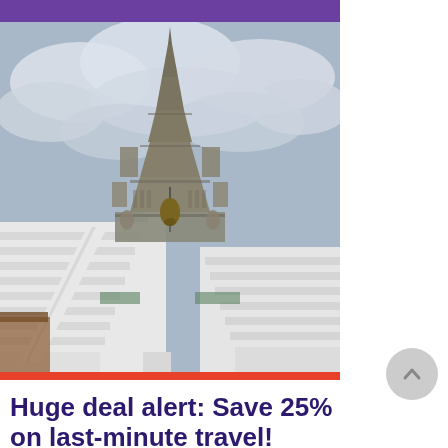[Figure (photo): Upward-angle photograph of a Thai Buddhist temple tower (prang) with ornate carved decoration and a hanging bell, white staircase railings in foreground, cloudy sky in background.]
Huge deal alert: Save 25% on last-minute travel!